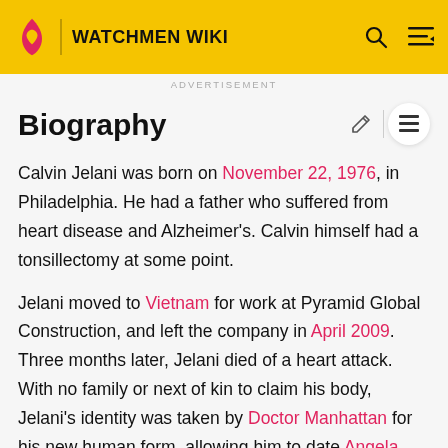WATCHMEN WIKI
Biography
Calvin Jelani was born on November 22, 1976, in Philadelphia. He had a father who suffered from heart disease and Alzheimer's. Calvin himself had a tonsillectomy at some point.
Jelani moved to Vietnam for work at Pyramid Global Construction, and left the company in April 2009. Three months later, Jelani died of a heart attack. With no family or next of kin to claim his body, Jelani's identity was taken by Doctor Manhattan for his new human form, allowing him to date Angela Abar in public.